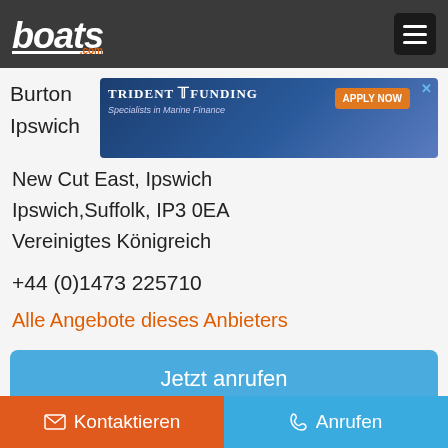boats.com
[Figure (screenshot): Trident Funding advertisement banner - Specialists in Marine Finance with APPLY NOW button]
Burton
Ipswich
New Cut East, Ipswich
Ipswich,Suffolk, IP3 0EA
Vereinigte Königreich
+44 (0)1473 225710
Alle Angebote dieses Anbieters
Jetzt anrufen
Kontaktieren
Anrufen